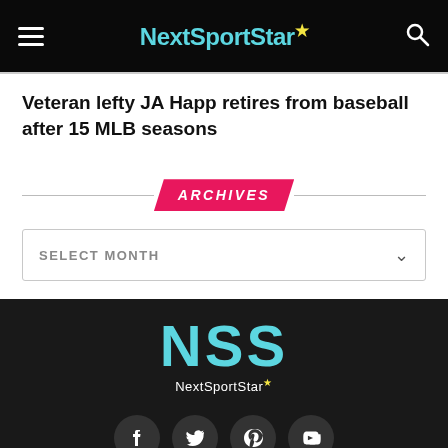NextSportStar
Veteran lefty JA Happ retires from baseball after 15 MLB seasons
ARCHIVES
SELECT MONTH
[Figure (logo): NSS NextSportStar logo in cyan on dark background]
[Figure (infographic): Social media icons: Facebook, Twitter, Pinterest, YouTube]
NSS LIVE STREAM  SPORTS  ABOUT US  CONTACT US  MEDIA KIT